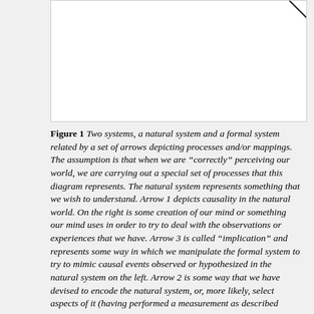[Figure (other): Blank white rectangle representing a figure area (figure content cut off, only white space visible with a diagonal line artifact in top-right corner)]
Figure 1 Two systems, a natural system and a formal system related by a set of arrows depicting processes and/or mappings. The assumption is that when we are "correctly" perceiving our world, we are carrying out a special set of processes that this diagram represents. The natural system represents something that we wish to understand. Arrow 1 depicts causality in the natural world. On the right is some creation of our mind or something our mind uses in order to try to deal with the observations or experiences that we have. Arrow 3 is called "implication" and represents some way in which we manipulate the formal system to try to mimic causal events observed or hypothesized in the natural system on the left. Arrow 2 is some way that we have devised to encode the natural system, or, more likely, select aspects of it (having performed a measurement as described